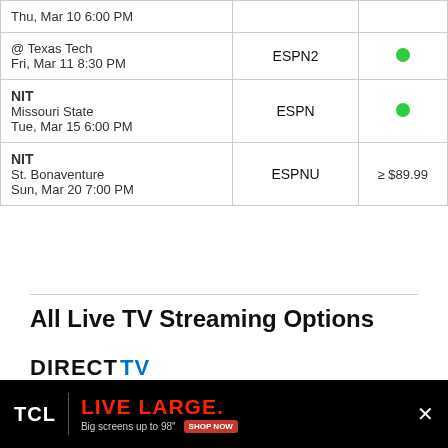| Game | Channel | Available |
| --- | --- | --- |
| Thu, Mar 10 6:00 PM |  |  |
| @ Texas Tech
Fri, Mar 11 8:30 PM | ESPN2 | ● |
| NIT
Missouri State
Tue, Mar 15 6:00 PM | ESPN | ● |
| NIT
St. Bonaventure
Sun, Mar 20 7:00 PM | ESPNU | ≥ $89.99 |
All Live TV Streaming Options
[Figure (logo): DIRECTV stream logo]
Can I watch the Oklahoma Sooners with DIRECTV
[Figure (other): TCL LIVE LARGE advertisement banner]